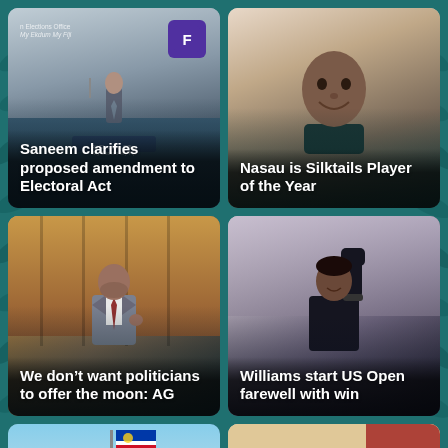[Figure (photo): Man speaking at podium with Fiji Elections Office branding and logo in background]
Saneem clarifies proposed amendment to Electoral Act
[Figure (photo): Young Pacific Islander man smiling against teal/dark background]
Nasau is Silktails Player of the Year
[Figure (photo): Man in grey suit with tie speaking, likely in parliament or formal setting]
We don't want politicians to offer the moon: AG
[Figure (photo): Female tennis player raising fist in celebration, crowd in background]
Williams start US Open farewell with win
[Figure (photo): Outdoor scene with flag pole and trees, Pacific Island setting]
[Figure (photo): Group of people seated in a meeting or community gathering indoors]